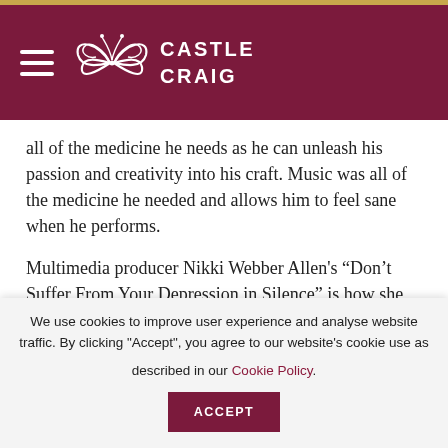Castle Craig
all of the medicine he needs as he can unleash his passion and creativity into his craft. Music was all of the medicine he needed and allows him to feel sane when he performs.
Multimedia producer Nikki Webber Allen's “Don’t Suffer From Your Depression in Silence” is how she was in denial with her anxiety and depression because she had a Master’s degree in Media Studies, had a lot of great
We use cookies to improve user experience and analyse website traffic. By clicking "Accept", you agree to our website's cookie use as described in our Cookie Policy.